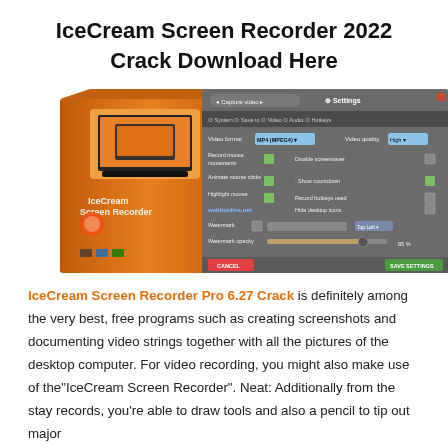IceCream Screen Recorder 2022 Crack Download Here
[Figure (screenshot): IceCream Screen Recorder product box and software settings interface screenshot showing video format MP4 (MPEG4), video quality High, and options for record mouse movements, animate mouse clicks, highlight mouse, watermark, etc.]
IceCream Screen Recorder Pro 6.27 Crack is definitely among the very best, free programs such as creating screenshots and documenting video strings together with all the pictures of the desktop computer. For video recording, you might also make use of the"IceCream Screen Recorder". Neat: Additionally from the stay records, you're able to draw tools and also a pencil to tip out major